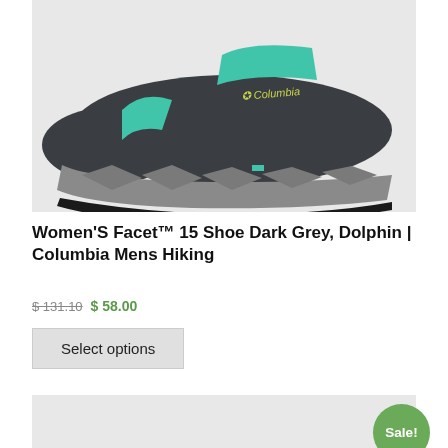[Figure (photo): Columbia Women's Facet 15 shoe in dark grey and teal/dolphin colorway, shown from the side on a light grey background. The shoe features teal laces, a grey geometric sole, and the Columbia logo in gold text.]
Women'S Facet™ 15 Shoe Dark Grey, Dolphin | Columbia Mens Hiking
$ 131.10  $ 58.00
Select options
[Figure (photo): Partial view of another Columbia product, shown at the bottom of the page with a Sale! badge in green.]